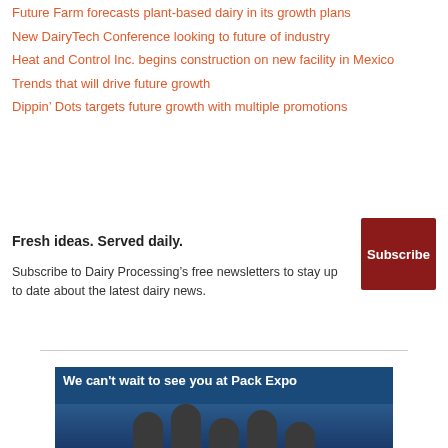Future Farm forecasts plant-based dairy in its growth plans
New DairyTech Conference looking to future of industry
Heat and Control Inc. begins construction on new facility in Mexico
Trends that will drive future growth
Dippin’ Dots targets future growth with multiple promotions
Fresh ideas. Served daily. Subscribe to Dairy Processing’s free newsletters to stay up to date about the latest dairy news.
[Figure (screenshot): Dark red Subscribe button]
[Figure (photo): Banner image: We can’t wait to see you at Pack Expo, with people visible below the text on a dark blue background]